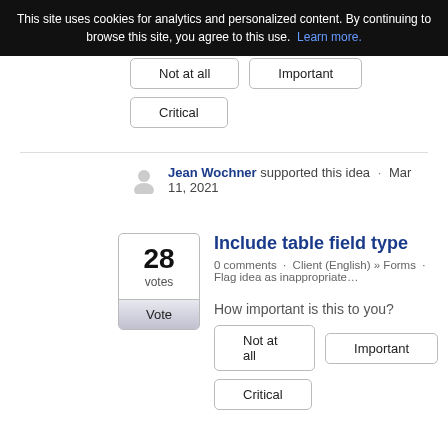This site uses cookies for analytics and personalized content. By continuing to browse this site, you agree to this use. Learn more.
Not at all   Important   Critical
Jean Wochner supported this idea · Mar 11, 2021
Include table field type
0 comments · Client (English) » Forms · Flag idea as inappropriate…
How important is this to you?
Not at all   Important   Critical